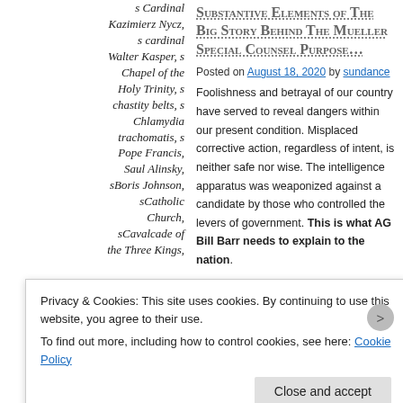s Cardinal Kazimierz Nycz, s cardinal Walter Kasper, s Chapel of the Holy Trinity, s chastity belts, s Chlamydia trachomatis, s Pope Francis, Saul Alinsky, sBoris Johnson, sCatholic Church, sCavalcade of the Three Kings, s
Substantive Elements of The Big Story Behind The Mueller Special Counsel Purpose…
Posted on August 18, 2020 by sundance
Foolishness and betrayal of our country have served to reveal dangers within our present condition. Misplaced corrective action, regardless of intent, is neither safe nor wise. The intelligence apparatus was weaponized against a candidate by those who controlled the levers of government. This is what AG Bill Barr needs to explain to the nation.
The purpose behind briefing Durham's lead
Privacy & Cookies: This site uses cookies. By continuing to use this website, you agree to their use.
To find out more, including how to control cookies, see here: Cookie Policy
Close and accept